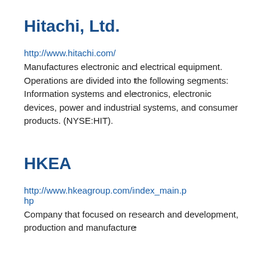Hitachi, Ltd.
http://www.hitachi.com/
Manufactures electronic and electrical equipment. Operations are divided into the following segments: Information systems and electronics, electronic devices, power and industrial systems, and consumer products. (NYSE:HIT).
HKEA
http://www.hkeagroup.com/index_main.php
Company that focused on research and development, production and manufacture